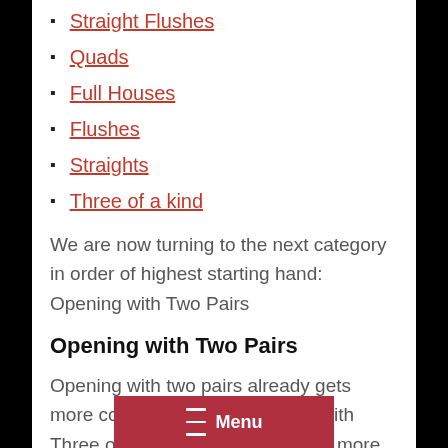Straight Flushes
Quads
Full Houses
Flushes
Straights
Three of a kind
We are now turning to the next category in order of highest starting hand: Opening with Two Pairs
Opening with Two Pairs
Opening with two pairs already gets more complicated than opening with Three of a kind. There are indeed more exceptions that can apply here, look at these.